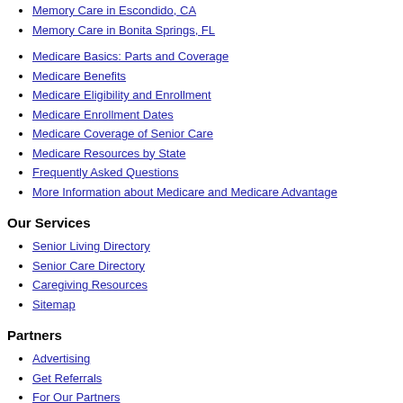Memory Care in Escondido, CA
Memory Care in Bonita Springs, FL
Medicare Basics: Parts and Coverage
Medicare Benefits
Medicare Eligibility and Enrollment
Medicare Enrollment Dates
Medicare Coverage of Senior Care
Medicare Resources by State
Frequently Asked Questions
More Information about Medicare and Medicare Advantage
Our Services
Senior Living Directory
Senior Care Directory
Caregiving Resources
Sitemap
Partners
Advertising
Get Referrals
For Our Partners